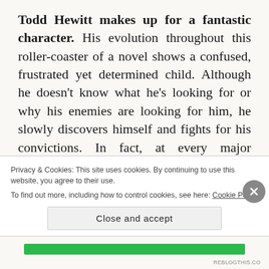Todd Hewitt makes up for a fantastic character. His evolution throughout this roller-coaster of a novel shows a confused, frustrated yet determined child. Although he doesn't know what he's looking for or why his enemies are looking for him, he slowly discovers himself and fights for his convictions. In fact, at every major juncture, Todd ends up learning a life lesson, one that isn't only crucial for him, but stunningly true for readers. For example, there comes a
Privacy & Cookies: This site uses cookies. By continuing to use this website, you agree to their use.
To find out more, including how to control cookies, see here: Cookie Policy
Close and accept